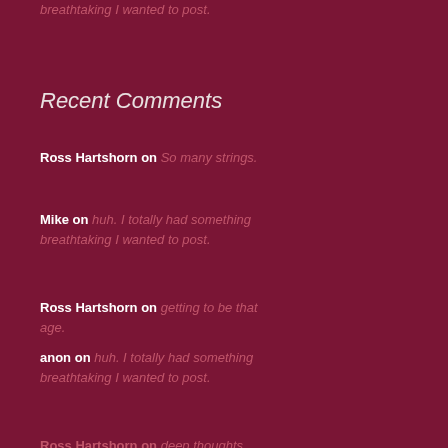breathtaking I wanted to post.
Recent Comments
Ross Hartshorn on So many strings.
Mike on huh. I totally had something breathtaking I wanted to post.
Ross Hartshorn on getting to be that age.
anon on huh. I totally had something breathtaking I wanted to post.
Ross Hartshorn on deep thoughts